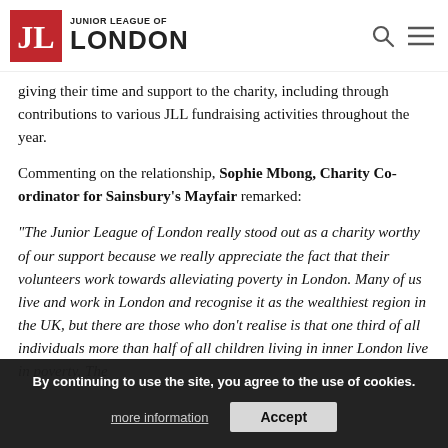JUNIOR LEAGUE OF LONDON
giving their time and support to the charity, including through contributions to various JLL fundraising activities throughout the year.
Commenting on the relationship, Sophie Mbong, Charity Co-ordinator for Sainsbury's Mayfair remarked:
“The Junior League of London really stood out as a charity worthy of our support because we really appreciate the fact that their volunteers work towards alleviating poverty in London. Many of us live and work in London and recognise it as the wealthiest region in the UK, but not everyone realise is that one third of all individuals more than half of all children living in inner London live in poverty. The